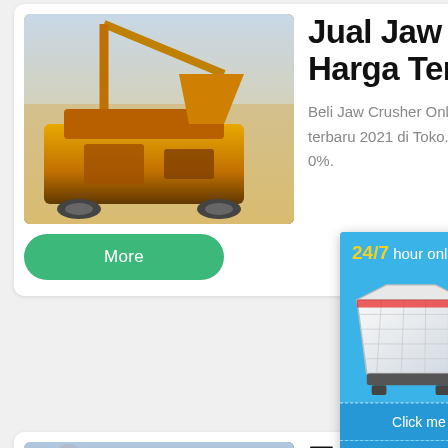[Figure (photo): Photo of a yellow jaw crusher machine at a construction/mining site]
Jual Jaw Crusher Murah - Harga Terbaru 2021
Beli Jaw Crusher Online berkualitas dengan harga murah terbaru 2021 di Toko... Pembayaran mudah... cepat bisa cicil 0%.
More
[Figure (screenshot): Live chat overlay widget showing '24/7 hour online', a white crusher machine, chat bubble button, 'Click me to chat>>' link, Enquiry button, and email address]
[Figure (photo): Photo of industrial crushing/processing plant with silos and machinery]
? harga cru... mendapat...